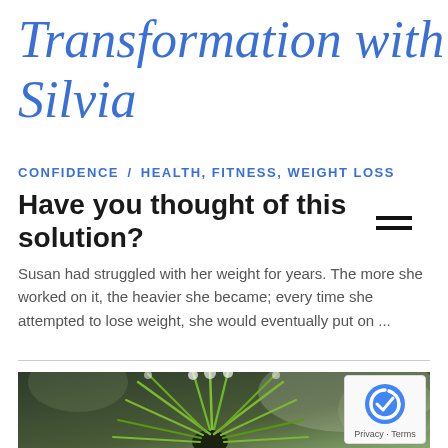Transformation with Silvia
CONFIDENCE / HEALTH, FITNESS, WEIGHT LOSS
Have you thought of this solution?
Susan had struggled with her weight for years. The more she worked on it, the heavier she became; every time she attempted to lose weight, she would eventually put on ...
[Figure (photo): Close-up photo of a dandelion seed head with green spiky center against a blurred background]